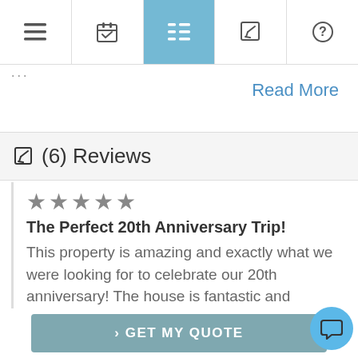Navigation bar with menu, calendar, list (active), edit, and help icons
...
Read More
(6) Reviews
★★★★★
The Perfect 20th Anniversary Trip!
This property is amazing and exactly what we were looking for to celebrate our 20th anniversary! The house is fantastic and immediately feels like home, the pool area h
> GET MY QUOTE